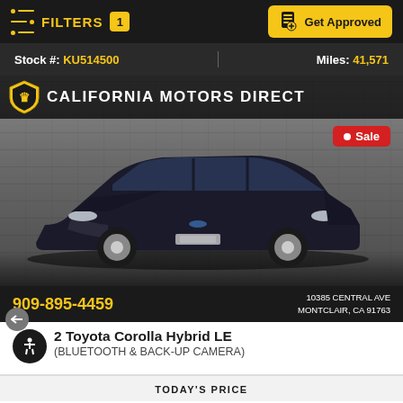FILTERS 1 | Get Approved
Stock #: KU514500 | Miles: 41,571
[Figure (photo): Black Toyota Corolla Hybrid LE sedan parked in front of a gray stone wall, with California Motors Direct dealer banner and Sale badge overlay. Phone: 909-895-4459, Address: 10385 CENTRAL AVE, MONTCLAIR, CA 91763]
2 Toyota Corolla Hybrid LE (BLUETOOTH & BACK-UP CAMERA)
TODAY'S PRICE